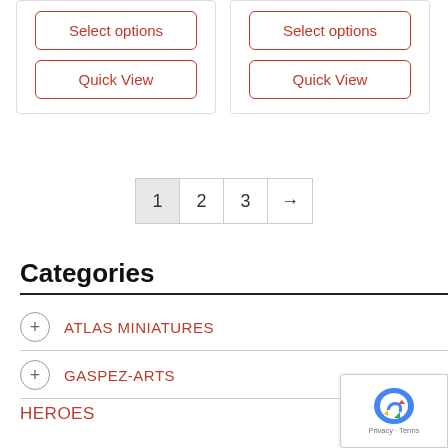[Figure (screenshot): Two product card buttons: 'Select options' and 'Quick View' in red outlined rounded rectangle buttons, shown for two product cards side by side.]
1 2 3 →
Categories
+ ATLAS MINIATURES
+ GASPEZ-ARTS
HEROES